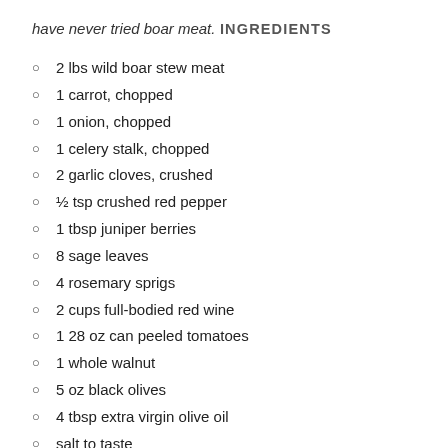have never tried boar meat.
INGREDIENTS
2 lbs wild boar stew meat
1 carrot, chopped
1 onion, chopped
1 celery stalk, chopped
2 garlic cloves, crushed
½ tsp crushed red pepper
1 tbsp juniper berries
8 sage leaves
4 rosemary sprigs
2 cups full-bodied red wine
1 28 oz can peeled tomatoes
1 whole walnut
5 oz black olives
4 tbsp extra virgin olive oil
salt to taste